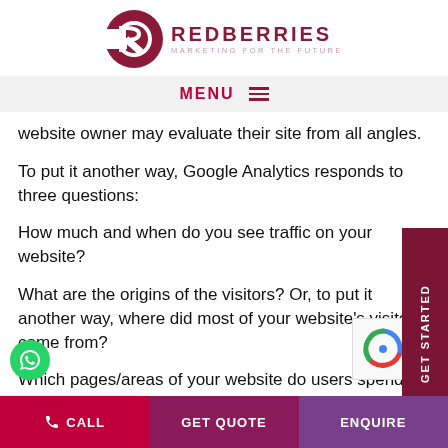[Figure (logo): Redberries logo — dark red circular icon with letter R and Marketing for the Future tagline]
MENU ≡
website owner may evaluate their site from all angles.
To put it another way, Google Analytics responds to three questions:
How much and when do you see traffic on your website?
What are the origins of the visitors? Or, to put it another way, where did most of your website's visitors come from?
Which pages/areas of your website do users spend the most time on?
CALL   GET QUOTE   ENQUIRE